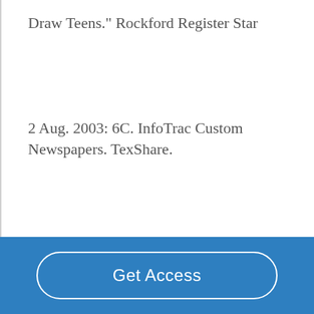Draw Teens." Rockford Register Star
2 Aug. 2003: 6C. InfoTrac Custom Newspapers. TexShare.
Get Access